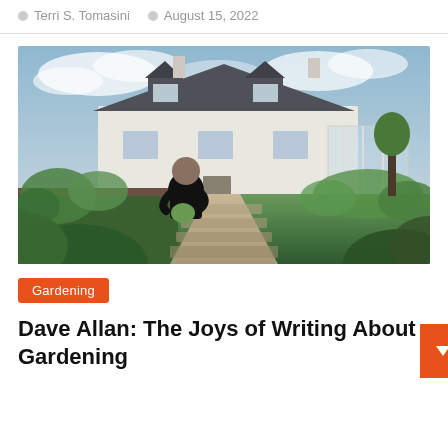Terri S. Tomasini  •  August 15, 2022
[Figure (photo): Man tending to vegetable garden beds in front of a white Scottish cottage with grey slate roof, cloudy sky overhead]
Gardening
Dave Allan: The Joys of Writing About Gardening